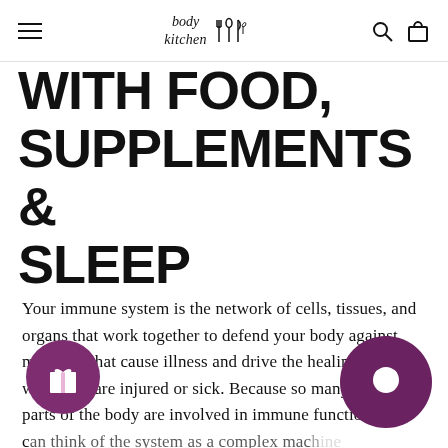body kitchen [logo with cutlery icons]
WITH FOOD, SUPPLEMENTS & SLEEP
Your immune system is the network of cells, tissues, and organs that work together to defend your body against microbes that cause illness and drive the healing process when you are injured or sick. Because so many different parts of the body are involved in immune function, you can think of the system as a complex mac[hine]... s of your diet and lifestyle can caus[e]... components of this machine to stop working